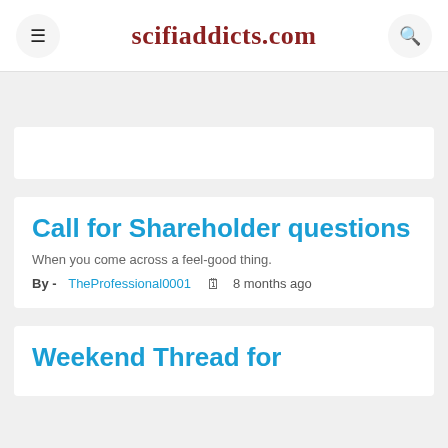scifiaddicts.com
[Figure (other): Advertisement placeholder card]
Call for Shareholder questions
When you come across a feel-good thing.
By - TheProfessional0001   8 months ago
Weekend Thread for